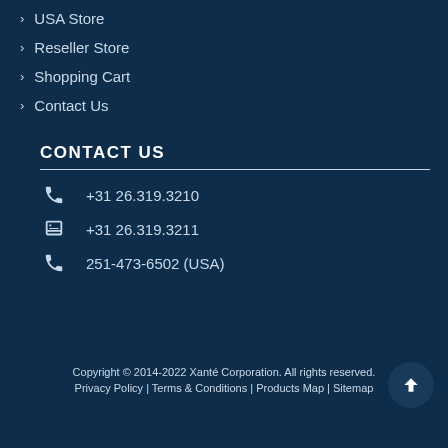USA Store
Reseller Store
Shopping Cart
Contact Us
CONTACT US
+31 26.319.3210
+31 26.319.3211
251-473-6502 (USA)
Copyright © 2014-2022 Xanté Corporation. All rights reserved.
Privacy Policy | Terms & Conditions | Products Map | Sitemap